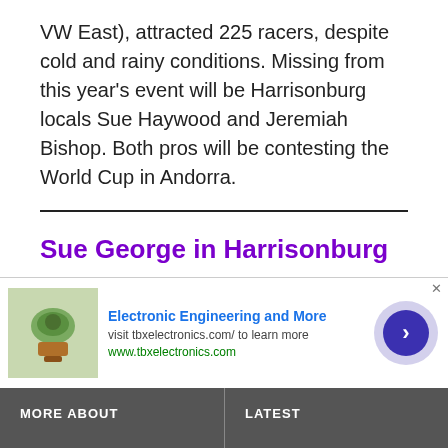VW East), attracted 225 racers, despite cold and rainy conditions. Missing from this year's event will be Harrisonburg locals Sue Haywood and Jeremiah Bishop. Both pros will be contesting the World Cup in Andorra.
Sue George in Harrisonburg
[Figure (screenshot): Advertisement banner for Electronic Engineering and More featuring tbxelectronics.com, with a small product image on the left and a navigation arrow button on the right.]